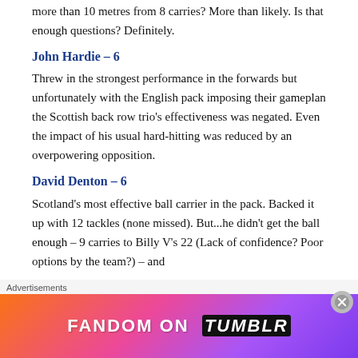more than 10 metres from 8 carries? More than likely. Is that enough questions? Definitely.
John Hardie – 6
Threw in the strongest performance in the forwards but unfortunately with the English pack imposing their gameplan the Scottish back row trio's effectiveness was negated. Even the impact of his usual hard-hitting was reduced by an overpowering opposition.
David Denton – 6
Scotland's most effective ball carrier in the pack. Backed it up with 12 tackles (none missed). But...he didn't get the ball enough – 9 carries to Billy V's 22 (Lack of confidence? Poor options by the team?) – and
Advertisements
[Figure (other): Fandom on Tumblr advertisement banner with colorful gradient background]